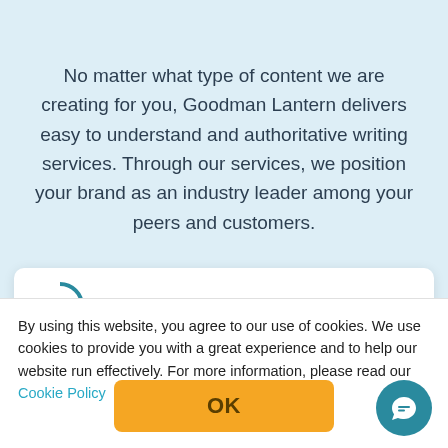No matter what type of content we are creating for you, Goodman Lantern delivers easy to understand and authoritative writing services. Through our services, we position your brand as an industry leader among your peers and customers.
[Figure (screenshot): Partial card with a teal arc/circle icon visible at bottom of light background section]
By using this website, you agree to our use of cookies. We use cookies to provide you with a great experience and to help our website run effectively. For more information, please read our Cookie Policy
OK